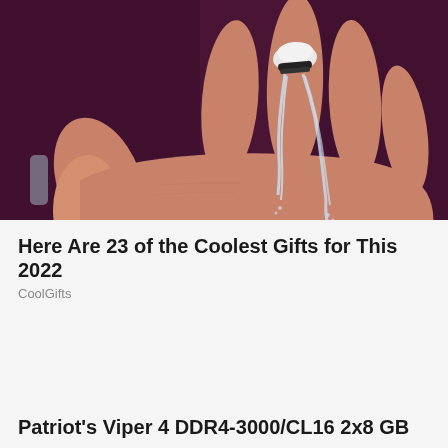[Figure (photo): A person's hand with a ring-shaped faucet device on their finger, with water streaming down from the device, photographed against a dark purple background.]
Here Are 23 of the Coolest Gifts for This 2022
CoolGifts
Patriot's Viper 4 DDR4-3000/CL16 2x8 GB